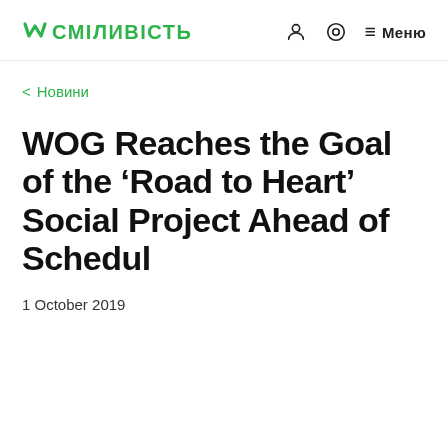W СМІЛИВІСТЬ   [user icon] [location icon]  ≡ Меню
< Новини
WOG Reaches the Goal of the 'Road to Heart' Social Project Ahead of Schedul
1 October 2019